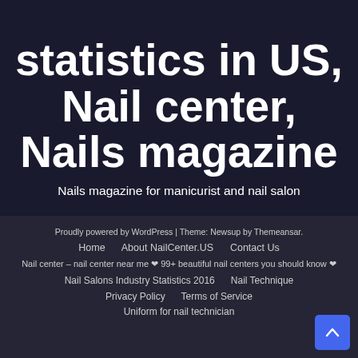statistics in US, Nail center, Nails magazine
Nails magazine for manicurist and nail salon
Proudly powered by WordPress | Theme: Newsup by Themeansar.
Home   About NailCenter.US   Contact Us
Nail center – nail center near me ❤ 99+ beautiful nail centers you should know ❤
Nail Salons Industry Statistics 2016   Nail Technique
Privacy Policy   Terms of Service
Uniform for nail technician